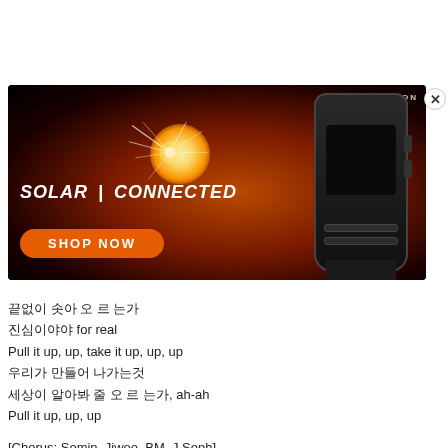[Figure (photo): Advertisement banner for G-Shock watch with dark red/orange background. Shows watch with text 'PROTECTION' and 'SOLAR | CONNECTED' with an orange 'SHOP NOW' button.]
끝없이 솟아 오 르 는가
진심이야야 for real
Pull it up, up, take it up, up, up
우리가 만들어 나가는것
세상이 알아봐 줄 오 르 는가, ah-ah
Pull it up, up, up
[Chorus: Somin, Jiwoo, BM, J.Seph]